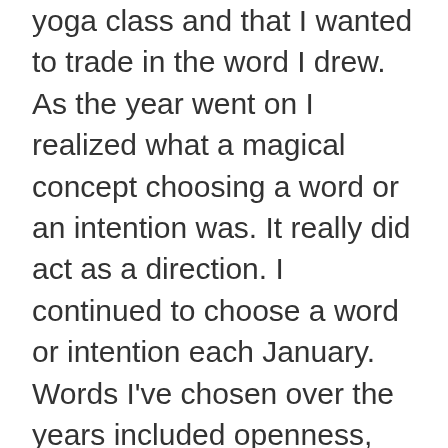yoga class and that I wanted to trade in the word I drew. As the year went on I realized what a magical concept choosing a word or an intention was. It really did act as a direction. I continued to choose a word or intention each January. Words I've chosen over the years included openness, challenge, enjoy, abundance, mindfulness. When I was thinking about the direction I wanted to take this year, the word openness kept coming back. In church this past Sunday during her sermon, our priest used the word open or openness at least eight times. Maybe that was a sign for me. In the end I decided that I would choose openness and one other word. That word is opportunity. I want to be open to new opportunities, new experiences, new